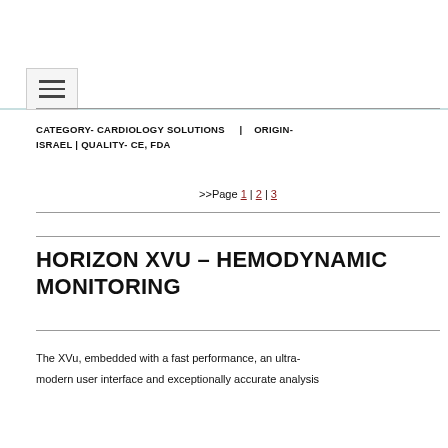☰ (navigation menu button)
CATEGORY- CARDIOLOGY SOLUTIONS | ORIGIN- ISRAEL | QUALITY- CE, FDA
>>Page 1 | 2 | 3
HORIZON XVU – HEMODYNAMIC MONITORING
The XVu, embedded with a fast performance, an ultra-modern user interface and exceptionally accurate analysis